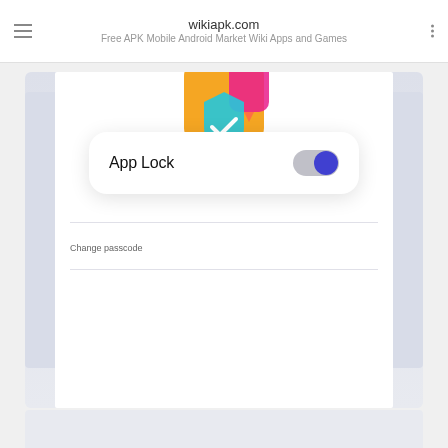wikiapk.com
Free APK Mobile Android Market Wiki Apps and Games
[Figure (screenshot): Android app screenshot showing an 'App Lock' settings screen with a toggle switch turned on (blue) and a 'Change passcode' option below]